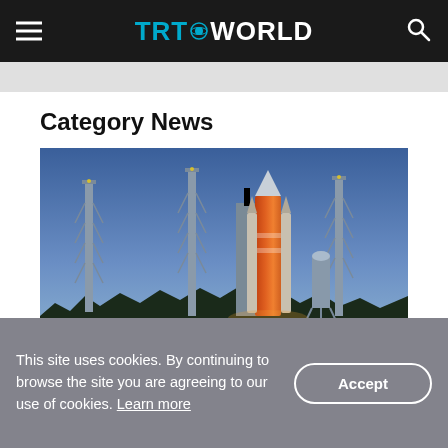TRT WORLD
Category News
[Figure (photo): A NASA rocket (SLS / Artemis) illuminated on the launch pad at night, surrounded by tall lightning towers, with a blue twilight sky background.]
This site uses cookies. By continuing to browse the site you are agreeing to our use of cookies. Learn more